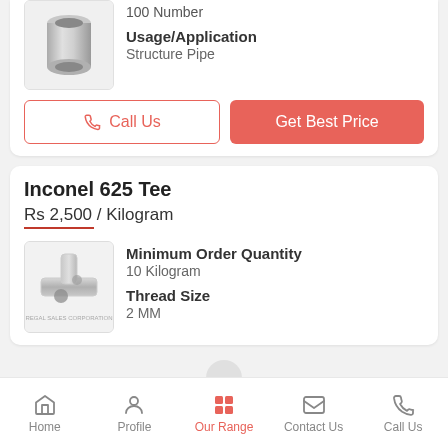[Figure (photo): Metal pipe coupling/bush product image]
100 Number
Usage/Application
Structure Pipe
Call Us
Get Best Price
Inconel 625 Tee
Rs 2,500 / Kilogram
[Figure (photo): Inconel 625 Tee pipe fitting product image with REGAL SALES CORPORATION watermark]
Minimum Order Quantity
10 Kilogram
Thread Size
2 MM
Home  Profile  Our Range  Contact Us  Call Us